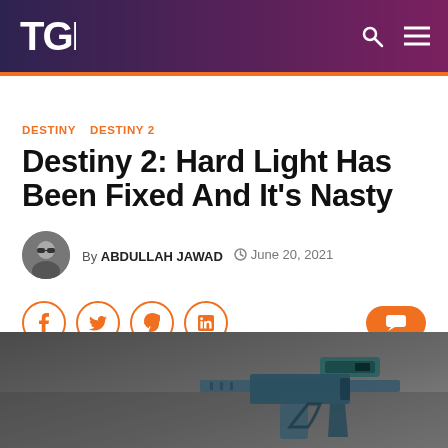TGP
DESTINY  DESTINY 2
Destiny 2: Hard Light Has Been Fixed And It's Nasty
By ABDULLAH JAWAD  June 20, 2021
[Figure (screenshot): Social share buttons: Facebook, Twitter, Pinterest, LinkedIn, and a comment button on the right]
[Figure (photo): Dark moody image of a gun (Hard Light exotic auto rifle from Destiny 2) on a grey background, partially visible at bottom of page]